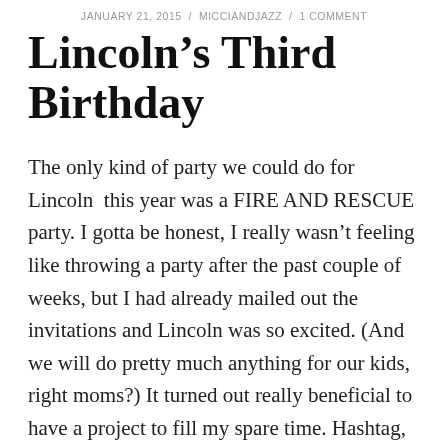JANUARY 21, 2015 / MICCIANDJAZZ / 1 COMMENT
Lincoln’s Third Birthday
The only kind of party we could do for Lincoln this year was a FIRE AND RESCUE party. I gotta be honest, I really wasn’t feeling like throwing a party after the past couple of weeks, but I had already mailed out the invitations and Lincoln was so excited. (And we will do pretty much anything for our kids, right moms?) It turned out really beneficial to have a project to fill my spare time. Hashtag, distractions.
I asked him what kind of cake he wanted and he told me he didn’t want cake. Only donuts, crunchy bacon